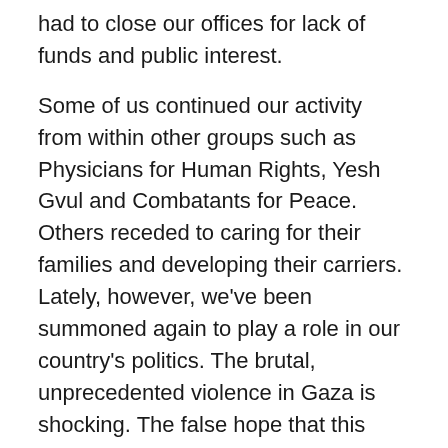had to close our offices for lack of funds and public interest.
Some of us continued our activity from within other groups such as Physicians for Human Rights, Yesh Gvul and Combatants for Peace. Others receded to caring for their families and developing their carriers. Lately, however, we've been summoned again to play a role in our country's politics. The brutal, unprecedented violence in Gaza is shocking. The false hope that this kind of violence will bring security to Israelis is all the more dangerous. We cannot stand aside while hundreds of civilians are being butchered by the IDF.
A few years older, hopefully a little wiser, the core members of Courage to Refuse have decided to resume activity and play once more a part in fighting for peace and